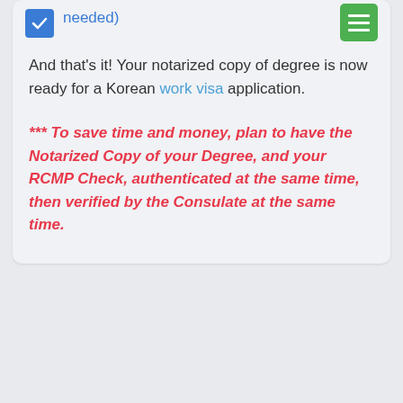needed)
And that's it! Your notarized copy of degree is now ready for a Korean work visa application.
*** To save time and money, plan to have the Notarized Copy of your Degree, and your RCMP Check, authenticated at the same time, then verified by the Consulate at the same time.